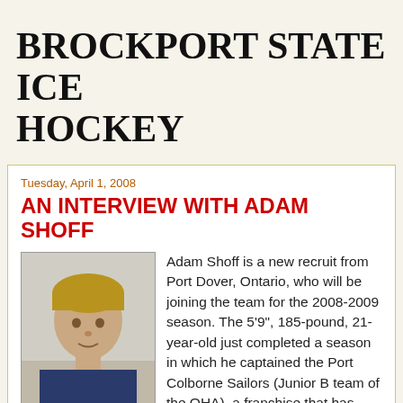BROCKPORT STATE ICE HOCKEY
Tuesday, April 1, 2008
AN INTERVIEW WITH ADAM SHOFF
[Figure (photo): Head shot photo of Adam Shoff, a young man with blonde hair wearing a jersey]
Adam Shoff is a new recruit from Port Dover, Ontario, who will be joining the team for the 2008-2009 season. The 5'9", 185-pound, 21-year-old just completed a season in which he captained the Port Colborne Sailors (Junior B team of the OHA), a franchise that has produced the likes of NHL